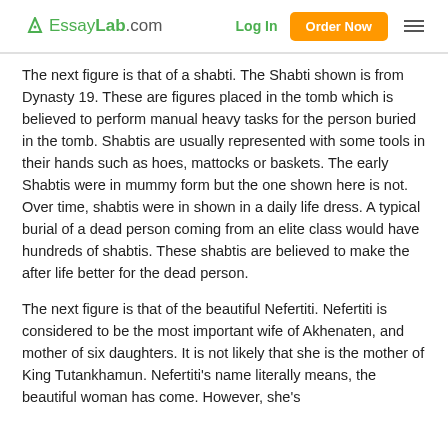EssayLab.com | Log In | Order Now
The next figure is that of a shabti. The Shabti shown is from Dynasty 19. These are figures placed in the tomb which is believed to perform manual heavy tasks for the person buried in the tomb. Shabtis are usually represented with some tools in their hands such as hoes, mattocks or baskets. The early Shabtis were in mummy form but the one shown here is not. Over time, shabtis were in shown in a daily life dress. A typical burial of a dead person coming from an elite class would have hundreds of shabtis. These shabtis are believed to make the after life better for the dead person.
The next figure is that of the beautiful Nefertiti. Nefertiti is considered to be the most important wife of Akhenaten, and mother of six daughters. It is not likely that she is the mother of King Tutankhamun. Nefertiti's name literally means, the beautiful woman has come. However, she's